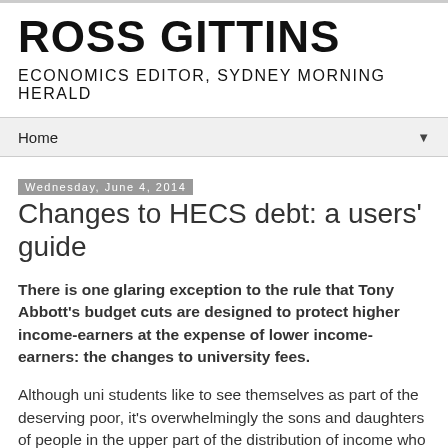ROSS GITTINS
ECONOMICS EDITOR, SYDNEY MORNING HERALD
Home
Wednesday, June 4, 2014
Changes to HECS debt: a users' guide
There is one glaring exception to the rule that Tony Abbott's budget cuts are designed to protect higher income-earners at the expense of lower income-earners: the changes to university fees.
Although uni students like to see themselves as part of the deserving poor, it's overwhelmingly the sons and daughters of people in the upper part of the distribution of income who go to university, and do so with the goal of acquiring the qualifications that will allow them to take their own place in